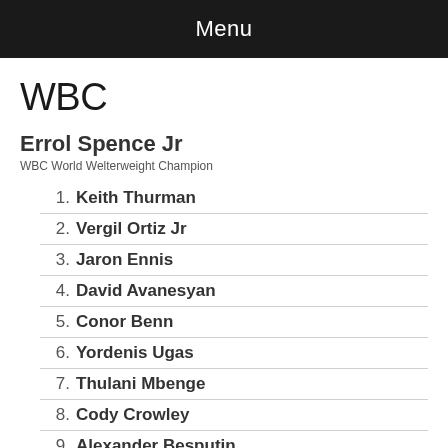Menu
WBC
Errol Spence Jr
WBC World Welterweight Champion
1. Keith Thurman
2. Vergil Ortiz Jr
3. Jaron Ennis
4. David Avanesyan
5. Conor Benn
6. Yordenis Ugas
7. Thulani Mbenge
8. Cody Crowley
9. Alexander Besputin
10. Egidijus Kavaliauskas
11. Abel Ramos
12. Mario Barrios
13. Ryota Toyoshima